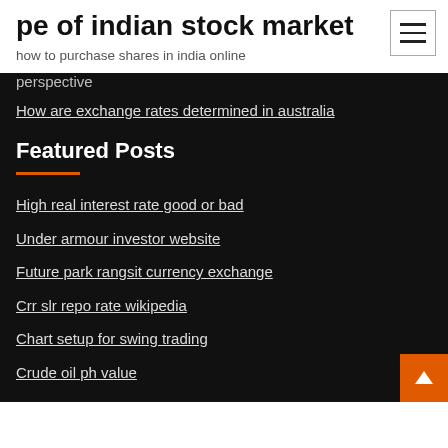pe of indian stock market
how to purchase shares in india online
perspective
How are exchange rates determined in australia
Featured Posts
High real interest rate good or bad
Under armour investor website
Future park rangsit currency exchange
Crr slr repo rate wikipedia
Chart setup for swing trading
Crude oil ph value